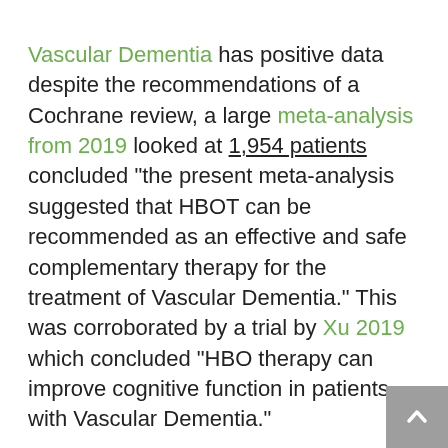Vascular Dementia has positive data despite the recommendations of a Cochrane review, a large meta-analysis from 2019 looked at 1,954 patients concluded "the present meta-analysis suggested that HBOT can be recommended as an effective and safe complementary therapy for the treatment of Vascular Dementia." This was corroborated by a trial by Xu 2019 which concluded "HBO therapy can improve cognitive function in patients with Vascular Dementia."
Vinpocetine is a clinic Naturopathic favorite for vascular dementia a derivative of periwinkle (Vinca minor).